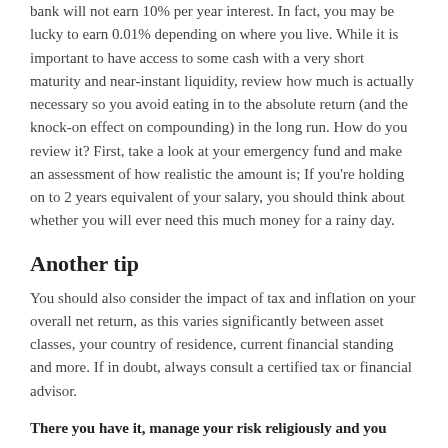bank will not earn 10% per year interest. In fact, you may be lucky to earn 0.01% depending on where you live. While it is important to have access to some cash with a very short maturity and near-instant liquidity, review how much is actually necessary so you avoid eating in to the absolute return (and the knock-on effect on compounding) in the long run. How do you review it? First, take a look at your emergency fund and make an assessment of how realistic the amount is; If you're holding on to 2 years equivalent of your salary, you should think about whether you will ever need this much money for a rainy day.
Another tip
You should also consider the impact of tax and inflation on your overall net return, as this varies significantly between asset classes, your country of residence, current financial standing and more. If in doubt, always consult a certified tax or financial advisor.
There you have it, manage your risk religiously and you will have a direct impact on your investment returns.